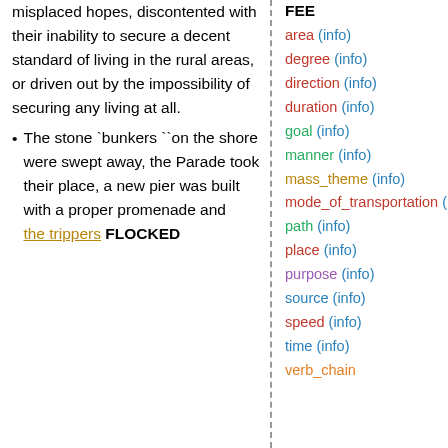misplaced hopes, discontented with their inability to secure a decent standard of living in the rural areas, or driven out by the impossibility of securing any living at all.
The stone `bunkers ``on the shore were swept away, the Parade took their place, a new pier was built with a proper promenade and the trippers FLOCKED
FEE
area (info)
degree (info)
direction (info)
duration (info)
goal (info)
manner (info)
mass_theme (info)
mode_of_transportation (info)
path (info)
place (info)
purpose (info)
source (info)
speed (info)
time (info)
verb_chain